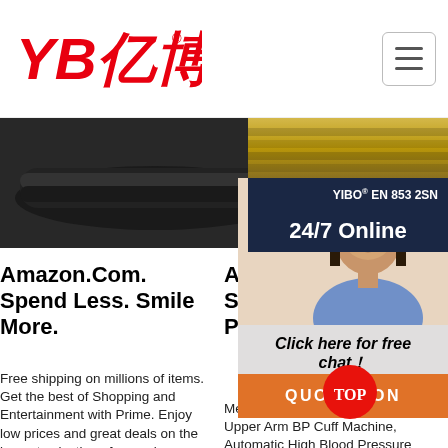[Figure (logo): YB亿博 logo in red with registered trademark symbol]
[Figure (photo): Dark hose/tube product on dark background]
[Figure (photo): Black hydraulic hose product]
[Figure (photo): YIBO EN 853 2SN labeled hose product with 24/7 Online banner]
[Figure (photo): Customer service woman with headset smiling, with Click here for free chat and QUOTATION button]
Amazon.Com. Spend Less. Smile More.
Free shipping on millions of items. Get the best of Shopping and Entertainment with Prime. Enjoy low prices and great deals on the largest selection of everyday essentials and other products, including fashion,
Amazon Best Sellers: Best Blood Pressure Monitors
Metene Blood Pressure Monitor Upper Arm BP Cuff Machine, Automatic High Blood Pressure Machine Kit with Cuff 22-40cm, Pulse Rate Monitor for Home Use 4.7 out of 5
Va... Te... Va... Pu... Sy... He...
202... 22u2002·u2002Disc vacuum pumps, helium leak detectors, vacuum measurement instruments, and vacuum components from